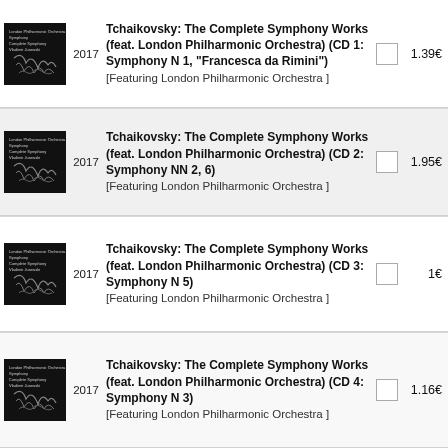2017 Tchaikovsky: The Complete Symphony Works (feat. London Philharmonic Orchestra) (CD 1: Symphony N 1, "Francesca da Rimini") [Featuring London Philharmonic Orchestra] 1.39€
2017 Tchaikovsky: The Complete Symphony Works (feat. London Philharmonic Orchestra) (CD 2: Symphony NN 2, 6) [Featuring London Philharmonic Orchestra] 1.95€
2017 Tchaikovsky: The Complete Symphony Works (feat. London Philharmonic Orchestra) (CD 3: Symphony N 5) [Featuring London Philharmonic Orchestra] 1€
2017 Tchaikovsky: The Complete Symphony Works (feat. London Philharmonic Orchestra) (CD 4: Symphony N 3) [Featuring London Philharmonic Orchestra] 1.16€